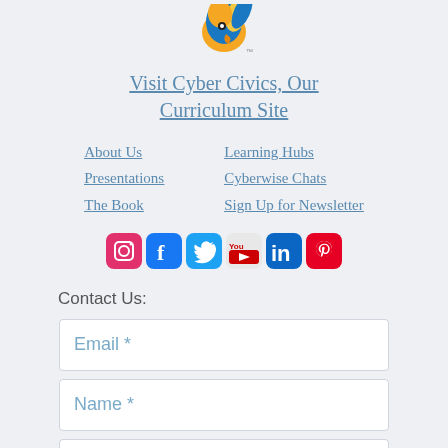[Figure (logo): Cyberwise bird logo - colorful parrot/macaw head in orange, blue, yellow]
Visit Cyber Civics, Our Curriculum Site
About Us
Learning Hubs
Presentations
Cyberwise Chats
The Book
Sign Up for Newsletter
[Figure (infographic): Social media icons row: Instagram, Facebook, Twitter, YouTube, LinkedIn, Pinterest]
Contact Us:
Email *
Name *
Subject